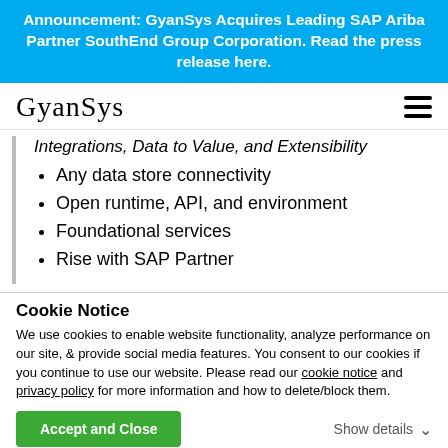Announcement: GyanSys Acquires Leading SAP Ariba Partner SouthEnd Group Corporation. Read the press release here.
GyanSys
Integrations, Data to Value, and Extensibility
Any data store connectivity
Open runtime, API, and environment
Foundational services
Rise with SAP Partner
Cookie Notice
We use cookies to enable website functionality, analyze performance on our site, & provide social media features. You consent to our cookies if you continue to use our website. Please read our cookie notice and privacy policy for more information and how to delete/block them.
Accept and Close
Show details